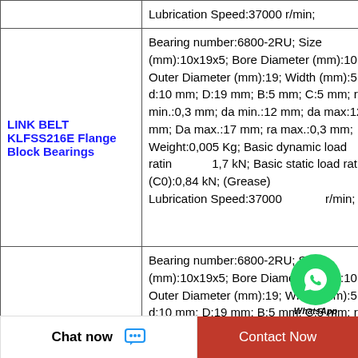| Product | Specifications |
| --- | --- |
|  | Lubrication Speed:37000 r/min; |
| LINK BELT KLFSS216E Flange Block Bearings | Bearing number:6800-2RU; Size (mm):10x19x5; Bore Diameter (mm):10; Outer Diameter (mm):19; Width (mm):5; d:10 mm; D:19 mm; B:5 mm; C:5 mm; r min.:0,3 mm; da min.:12 mm; da max:12 mm; Da max.:17 mm; ra max.:0,3 mm; Weight:0,005 Kg; Basic dynamic load rating (C):1,7 kN; Basic static load rating (C0):0,84 kN; (Grease) Lubrication Speed:37000 r/min; |
| LINK BELT KLERSS2M35DC | Bearing number:6800-2RU; Size (mm):10x19x5; Bore Diameter (mm):10; Outer Diameter (mm):19; Width (mm):5; d:10 mm; D:19 mm; B:5 mm; C:5 mm; r min.:0,3 mm; da min.:12 mm; da... |
WhatsApp Online
Chat now  Contact Now